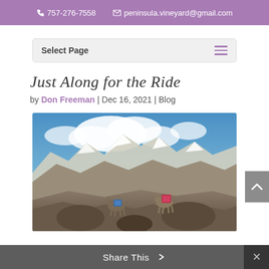757-276-7558  peninsula.vineyard@gmail.com
Select Page
Just Along for the Ride
by Don Freeman | Dec 16, 2021 | Blog
[Figure (photo): Two donkeys with large backpacks climbing rocky terrain with snow-capped mountains and cloudy sky in the background]
Share This